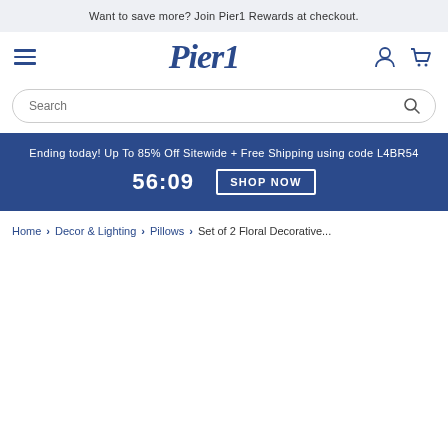Want to save more? Join Pier1 Rewards at checkout.
[Figure (logo): Pier1 logo in dark blue serif italic font, with hamburger menu icon on left and user/cart icons on right]
Search
Ending today! Up To 85% Off Sitewide + Free Shipping using code L4BR54
56:09  SHOP NOW
Home > Decor & Lighting > Pillows > Set of 2 Floral Decorative...